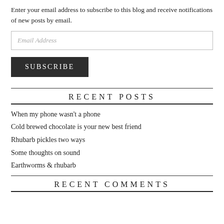Enter your email address to subscribe to this blog and receive notifications of new posts by email.
Email Address
SUBSCRIBE
RECENT POSTS
When my phone wasn't a phone
Cold brewed chocolate is your new best friend
Rhubarb pickles two ways
Some thoughts on sound
Earthworms & rhubarb
RECENT COMMENTS